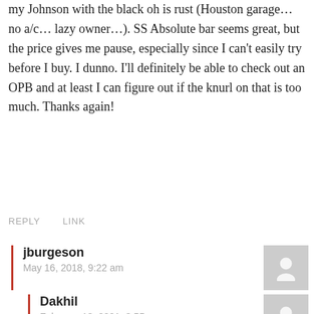my Johnson with the black oh is rust (Houston garage… no a/c… lazy owner…). SS Absolute bar seems great, but the price gives me pause, especially since I can't easily try before I buy. I dunno. I'll definitely be able to check out an OPB and at least I can figure out if the knurl on that is too much. Thanks again!
REPLY    LINK
jburgeson
May 16, 2018, 9:22 am
Yeah that center on the Ohio may be right up your alley. They had to have focus-tested that knurl before releasing the OPB at some point right? Someone likes it I guess haha
REPLY    LINK
Dakhil
February 18, 2021, 3:55 am